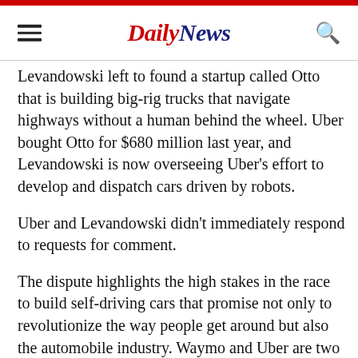DailyNews
Levandowski left to found a startup called Otto that is building big-rig trucks that navigate highways without a human behind the wheel. Uber bought Otto for $680 million last year, and Levandowski is now overseeing Uber's effort to develop and dispatch cars driven by robots.
Uber and Levandowski didn't immediately respond to requests for comment.
The dispute highlights the high stakes in the race to build self-driving cars that promise not only to revolutionize the way people get around but also the automobile industry. Waymo and Uber are two of the early leaders, while long-established car companies such as Ford, Toyota and General Motors are scrambling to catch up.